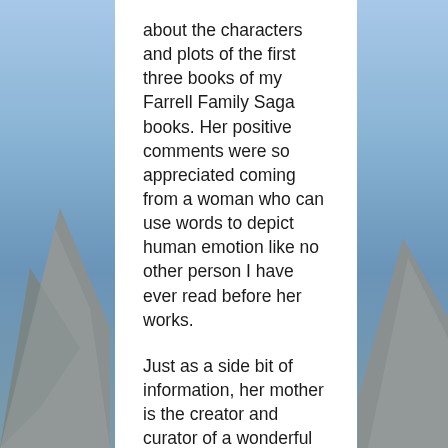[Figure (illustration): Mountain landscape background with blue sky, rocky cliffs on left and right sides, white card overlay in the center]
about the characters and plots of the first three books of my Farrell Family Saga books. Her positive comments were so appreciated coming from a woman who can use words to depict human emotion like no other person I have ever read before her works.
Just as a side bit of information, her mother is the creator and curator of a wonderful collection of gum displayed in her gum museum in Quartzsite, AZ. Joanne and her sister began collecting the gum as-children and now she has thousands. Her husband built the building where the gum is displayed and a visit to her museum will surely bring back so many memories. If you are ever in the area, it's worth a visit.
These two ladies are the kind of friends that